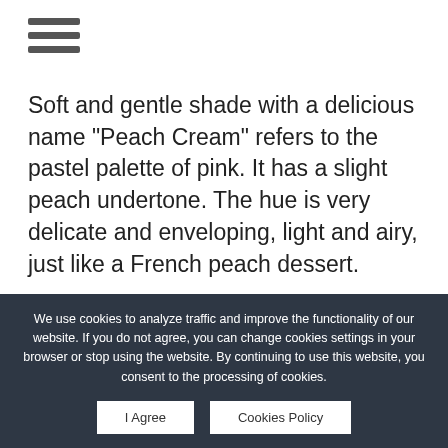[Figure (other): Hamburger menu icon with three horizontal bars]
Soft and gentle shade with a delicious name "Peach Cream" refers to the pastel palette of pink. It has a slight peach undertone. The hue is very delicate and enveloping, light and airy, just like a French peach dessert.
[Figure (photo): Pantone color swatches showing PANTONE 12-1110 TCX Crème de Pêche color chips, four swatches visible with a peach/cream colored fabric swatch below]
We use cookies to analyze traffic and improve the functionality of our website. If you do not agree, you can change cookies settings in your browser or stop using the website. By continuing to use this website, you consent to the processing of cookies.